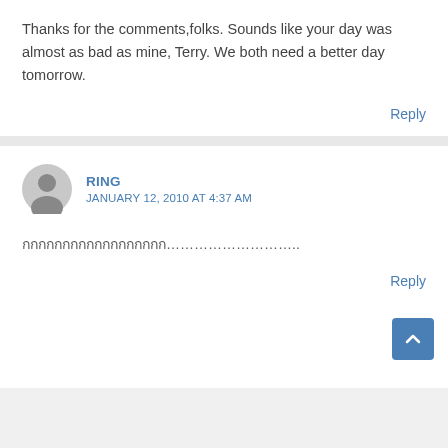Thanks for the comments,folks. Sounds like your day was almost as bad as mine, Terry. We both need a better day tomorrow.
Reply
RING
JANUARY 12, 2010 AT 4:37 AM
กกกกกกกกกกกกกกกกกก……………………….
Reply